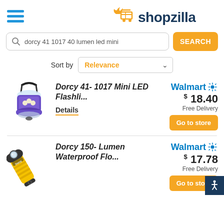[Figure (logo): Shopzilla logo with hamburger menu icon]
dorcy 41 1017 40 lumen led mini
SEARCH
Sort by Relevance
[Figure (photo): Dorcy 41-1017 Mini LED Flashlight lantern product image - purple/blue mini LED lantern]
Dorcy 41- 1017 Mini LED Flashli...
Details
Walmart $18.40 Free Delivery Go to store
[Figure (photo): Dorcy 150-Lumen Waterproof flashlight product image - yellow and black flashlight]
Dorcy 150- Lumen Waterproof Flo...
Walmart $17.78 Free Delivery Go to store